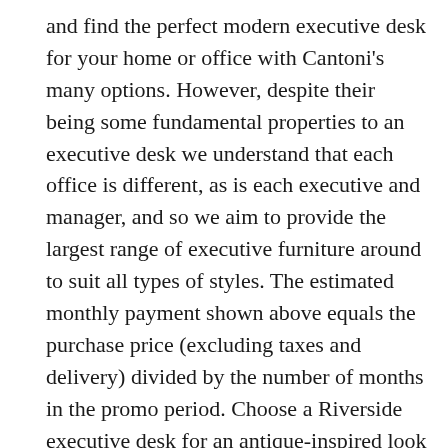and find the perfect modern executive desk for your home or office with Cantoni's many options. However, despite their being some fundamental properties to an executive desk we understand that each office is different, as is each executive and manager, and so we aim to provide the largest range of executive furniture around to suit all types of styles. The estimated monthly payment shown above equals the purchase price (excluding taxes and delivery) divided by the number of months in the promo period. Choose a Riverside executive desk for an antique-inspired look or try a DMi executive desk with Queen Anne inspired brass hardware for timeless appeal. We have 20 years of experience in providing high-quality office furniture at the lowest prices to clients nationwide. Ensure you stay productive with the addition of the Edge 2-Drawer Desk in your space. Discover the difference that a double pedestal desk can make by using it as an executive desk in your corporate office or home office. A good desk can give you a space to work and help organize your office or room. You